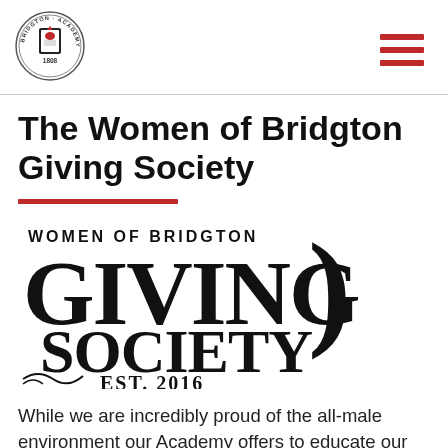[Figure (logo): Bridgton Academy circular seal logo with bird and 1808 text]
The Women of Bridgton Giving Society
[Figure (logo): Women of Bridgton Giving Society decorative logo with ornate gothic lettering, EST 2016]
While we are incredibly proud of the all-male environment our Academy offers to educate our